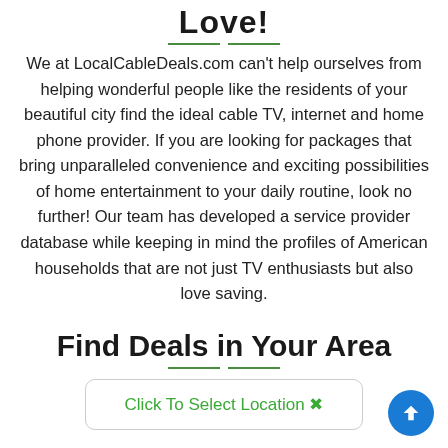Love!
We at LocalCableDeals.com can’t help ourselves from helping wonderful people like the residents of your beautiful city find the ideal cable TV, internet and home phone provider. If you are looking for packages that bring unparalleled convenience and exciting possibilities of home entertainment to your daily routine, look no further! Our team has developed a service provider database while keeping in mind the profiles of American households that are not just TV enthusiasts but also love saving.
Find Deals in Your Area
Click To Select Location ✕